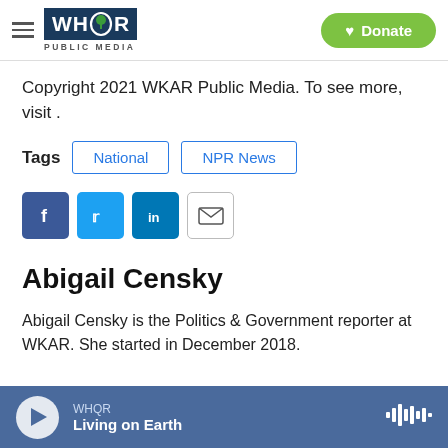WHQR PUBLIC MEDIA | Donate
Copyright 2021 WKAR Public Media. To see more, visit .
Tags  National  NPR News
[Figure (infographic): Social sharing icons: Facebook, Twitter, LinkedIn, Email]
Abigail Censky
Abigail Censky is the Politics & Government reporter at WKAR. She started in December 2018.
WHQR  Living on Earth